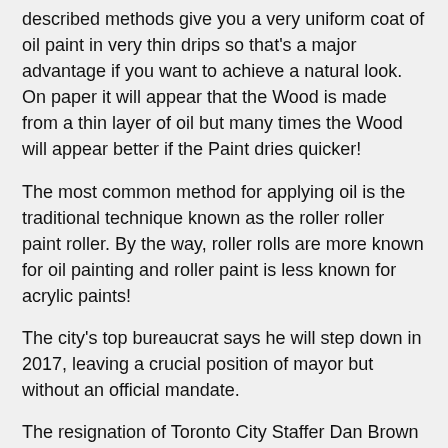described methods give you a very uniform coat of oil paint in very thin drips so that's a major advantage if you want to achieve a natural look. On paper it will appear that the Wood is made from a thin layer of oil but many times the Wood will appear better if the Paint dries quicker!
The most common method for applying oil is the traditional technique known as the roller roller paint roller. By the way, roller rolls are more known for oil painting and roller paint is less known for acrylic paints!
The city's top bureaucrat says he will step down in 2017, leaving a crucial position of mayor but without an official mandate.
The resignation of Toronto City Staffer Dan Brown — he's currently heading a public services committee — is effective immediately.
Last November, Brown won the mayor's job on a unanimous board of directors vote.
Brown, who is a founding member of council's economic